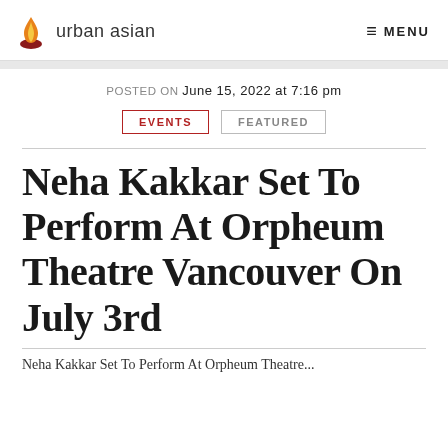urban asian  MENU
POSTED ON June 15, 2022 at 7:16 pm
EVENTS  FEATURED
Neha Kakkar Set To Perform At Orpheum Theatre Vancouver On July 3rd
Neha Kakkar Set To Perform At Orpheum Theatre...